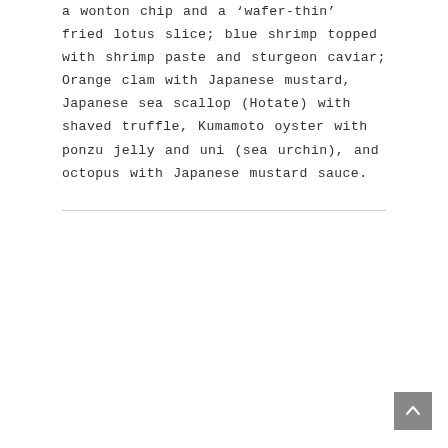a wonton chip and a 'wafer-thin' fried lotus slice; blue shrimp topped with shrimp paste and sturgeon caviar; Orange clam with Japanese mustard, Japanese sea scallop (Hotate) with shaved truffle, Kumamoto oyster with ponzu jelly and uni (sea urchin), and octopus with Japanese mustard sauce.